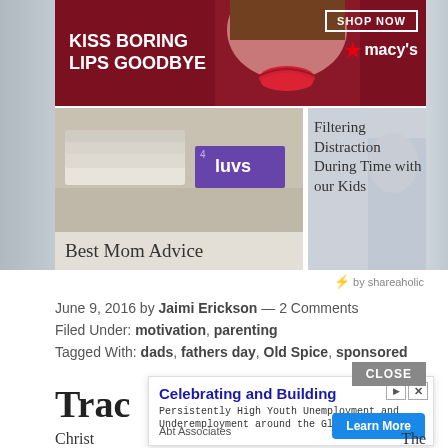[Figure (screenshot): Macy's advertisement banner with dark red background: 'KISS BORING LIPS GOODBYE' on left, woman with red lips in center, 'SHOP NOW' button and Macy's star logo on right]
[Figure (photo): Card showing stacked diapers and Luvs diaper package, with label 'Best Mom Advice' at bottom]
[Figure (photo): Card showing light gray/blue background with overlaid text 'Filtering Distraction During Time with our Kids']
⚡ by shareaholic
June 9, 2016 by Jaimi Erickson — 2 Comments
Filed Under: motivation, parenting
Tagged With: dads, fathers day, Old Spice, sponsored
[Figure (screenshot): Popup advertisement: 'Celebrating and Building' title in blue, subtitle 'Persistently High Youth Unemployment and Underemployment around the Globe', source 'Abt Associates', with blue 'Learn More' button. CLOSE button in gray at top right.]
Trac
Christ
The